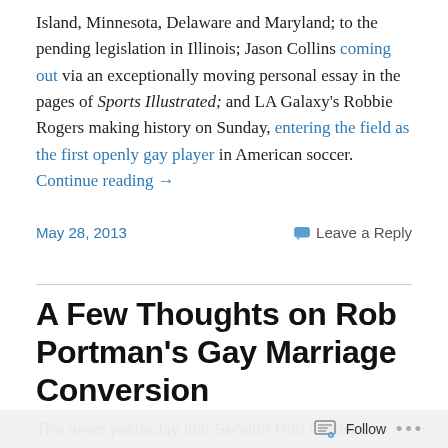Island, Minnesota, Delaware and Maryland; to the pending legislation in Illinois; Jason Collins coming out via an exceptionally moving personal essay in the pages of Sports Illustrated; and LA Galaxy's Robbie Rogers making history on Sunday, entering the field as the first openly gay player in American soccer. Continue reading →
May 28, 2013    Leave a Reply
A Few Thoughts on Rob Portman's Gay Marriage Conversion
The news yesterday that Senator Rob Portman,